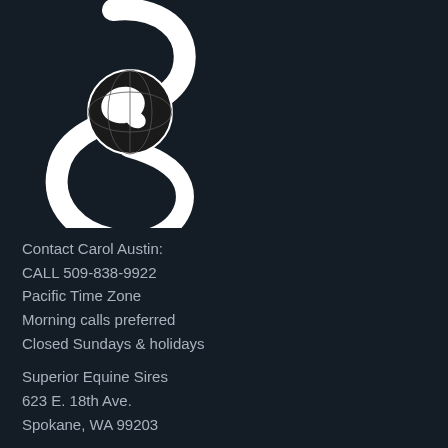[Figure (logo): Superior Equine Sires logo: stylized S shape with globe/earth in center, white on dark background]
Contact Carol Austin:
CALL 509-838-9922
Pacific Time Zone
Morning calls preferred
Closed Sundays & holidays
Superior Equine Sires
623 E. 18th Ave.
Spokane, WA 99203
fax: 509-838-7688
info@superiorequinesires.com